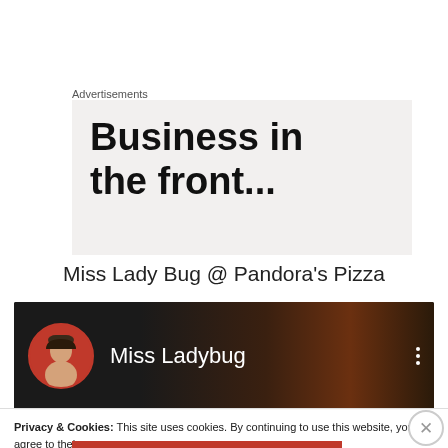Advertisements
[Figure (screenshot): Advertisement banner with bold text reading 'Business in the front...' on a light grey background]
Miss Lady Bug @ Pandora's Pizza
[Figure (screenshot): YouTube channel header bar showing Miss Ladybug profile with circular avatar photo and three-dot menu]
Privacy & Cookies: This site uses cookies. By continuing to use this website, you agree to their use.
To find out more, including how to control cookies, see here: Cookie Policy
Close and accept